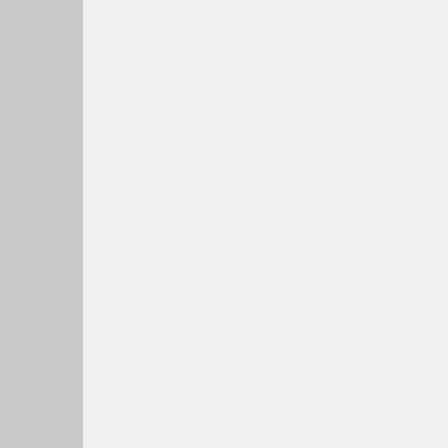However it is, as Ron says, quit... for had a man who bought a Ce... took him a lot of time (lots of ex... extra complexity, speed and ma... (poor judgement) he died in a c... other examples, most not quite... who bought a 1956 Cessna 182... took extra hours and complexity... outcome was MUCH better, tho...
What aircraft type do you have ... located?
[Figure (photo): Two men standing next to a small aircraft on what appears to be a dry lake bed or airfield. One man wears a white hat, the other a red/orange cap. The aircraft is light-colored (white/blue).]
Larry N.
10-21-2021, 02:02 PM
Larry's excellent post reminded...